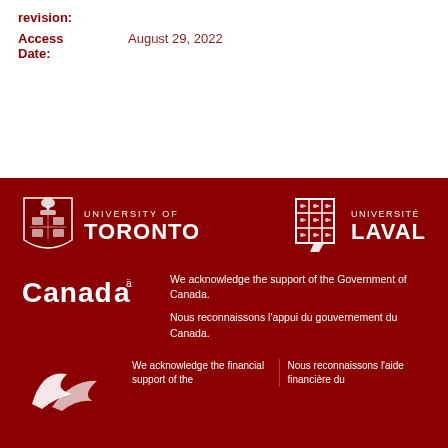revision:
Access Date: August 29, 2022
[Figure (logo): University of Toronto shield crest logo with text UNIVERSITY OF TORONTO]
[Figure (logo): Université Laval grid crest logo with text UNIVERSITÉ LAVAL]
[Figure (logo): Canada wordmark logo]
We acknowledge the support of the Government of Canada.

Nous reconnaissons l'appui du gouvernement du Canada.
[Figure (logo): SSHRC / CRSH partial logo (bird/abstract shape)]
We acknowledge the financial support of the
Nous reconnaissons l'aide financière du